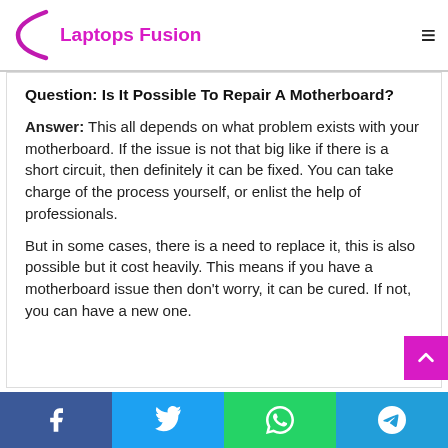Laptops Fusion
Question: Is It Possible To Repair A Motherboard?
Answer: This all depends on what problem exists with your motherboard. If the issue is not that big like if there is a short circuit, then definitely it can be fixed. You can take charge of the process yourself, or enlist the help of professionals.
But in some cases, there is a need to replace it, this is also possible but it cost heavily. This means if you have a motherboard issue then don't worry, it can be cured. If not, you can have a new one.
Social share bar: Facebook, Twitter, WhatsApp, Telegram